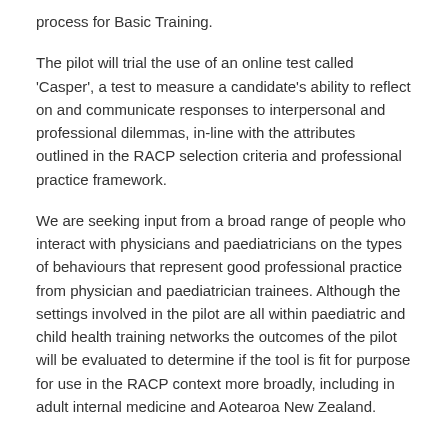process for Basic Training.
The pilot will trial the use of an online test called 'Casper', a test to measure a candidate's ability to reflect on and communicate responses to interpersonal and professional dilemmas, in-line with the attributes outlined in the RACP selection criteria and professional practice framework.
We are seeking input from a broad range of people who interact with physicians and paediatricians on the types of behaviours that represent good professional practice from physician and paediatrician trainees. Although the settings involved in the pilot are all within paediatric and child health training networks the outcomes of the pilot will be evaluated to determine if the tool is fit for purpose for use in the RACP context more broadly, including in adult internal medicine and Aotearoa New Zealand.